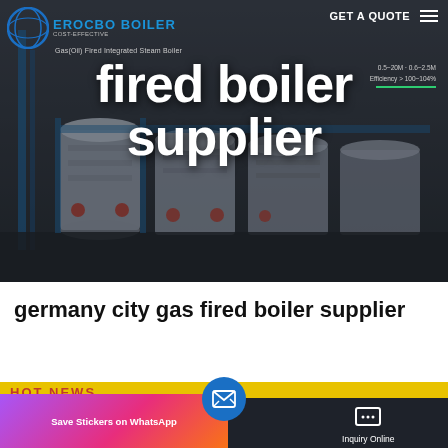[Figure (screenshot): Website hero banner for EROCBO BOILER showing industrial gas/oil fired integrated steam boilers in a dark industrial setting with overlay text 'fired boiler supplier' and GET A QUOTE navigation button]
germany city gas fired boiler supplier
[Figure (screenshot): Bottom navigation bar with Send Message button, center email/envelope FAB button, and Inquiry Online button; WhatsApp sticker save popup overlay in pink/purple gradient]
HOT NEWS
Send Message
Inquiry Online